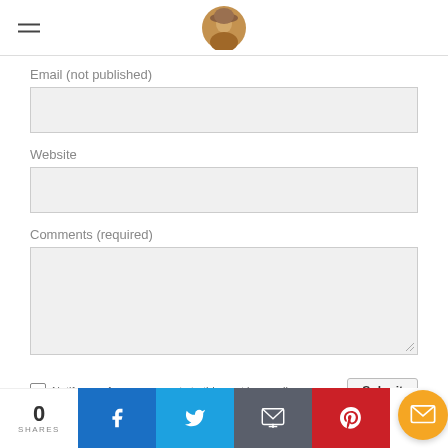Navigation header with hamburger menu and circular avatar photo
Email (not published)
Website
Comments (required)
Notify me of new comments to this post by email
Submit
0 SHARES
[Figure (screenshot): Social share bar with Facebook, Twitter, Email, Pinterest buttons and 0 SHARES count]